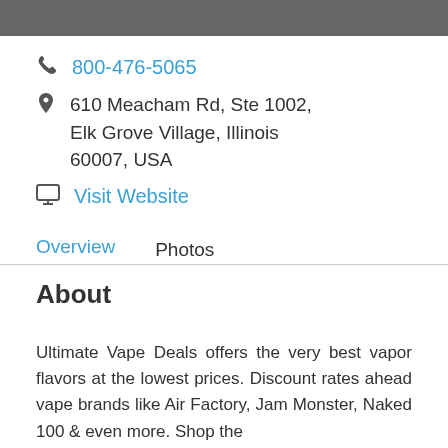800-476-5065
610 Meacham Rd, Ste 1002, Elk Grove Village, Illinois 60007, USA
Visit Website
Overview   Photos
About
Ultimate Vape Deals offers the very best vapor flavors at the lowest prices. Discount rates ahead vape brands like Air Factory, Jam Monster, Naked 100 & even more. Shop the